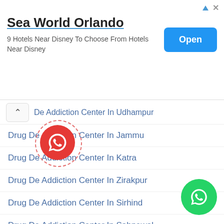[Figure (screenshot): Advertisement banner for Sea World Orlando showing title, subtitle about hotels near Disney, and an Open button]
De Addiction Center In Udhampur
Drug De Addiction Center In Jammu
Drug De Addiction Center In Katra
Drug De Addiction Center In Zirakpur
Drug De Addiction Center In Sirhind
Drug De Addiction Center In Sahnewal
Drug De Addiction Center In Raikot
Drug De Addiction Center In Phillaur
Drug De Addiction Center In Patran
Drug De Addiction Center In Nangal
Drug De Addiction Center In Nabha